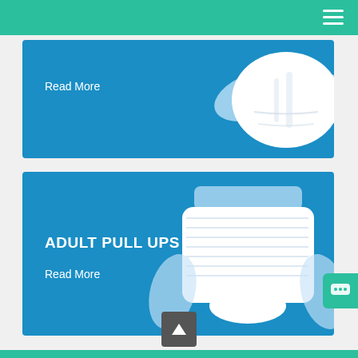[Figure (photo): Adult diaper/brief product shown from back on blue background with text 'Read More']
[Figure (photo): Adult pull-up diaper product shown from front on blue background]
ADULT PULL UPS
Read More
Read More